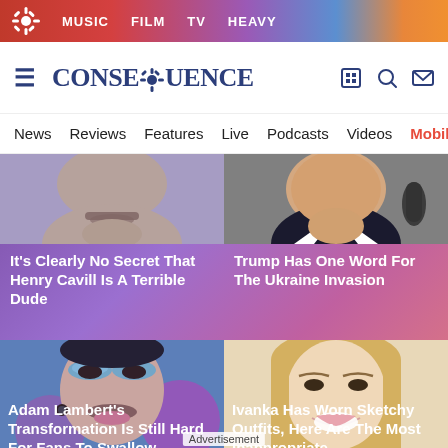MUSIC  FILM  TV  HEAVY
[Figure (logo): Consequence of Sound logo with flower/asterisk icon and site name]
News  Reviews  Features  Live  Podcasts  Videos  Mobile A
[Figure (photo): Close-up photo of Henry Cavill's lower face with mustache]
It's Clearly No Secret That Henry Cavill Is A Terrible Dude
[Figure (photo): Close-up photo of Trump's lower face near a microphone]
Trump Has One Word For The Ukraine Invasion
[Figure (photo): Close-up photo of Adam Lambert with glittery blue eyeshadow makeup]
Adam Lambert's Transformation Is Still Hard For Fans To Swallow
Advertisement
[Figure (photo): Close-up photo of Ivanka Trump smiling with blonde hair]
Ivanka Has Worn Sketchy Outfits, Here Are The Most Inappropriate